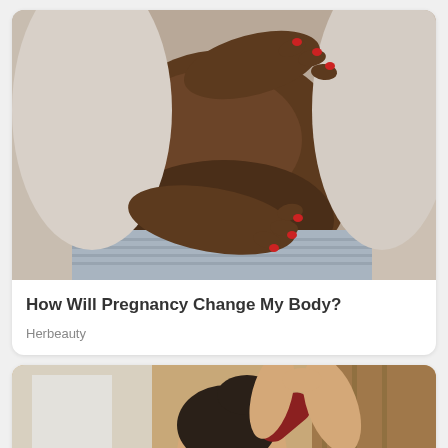[Figure (photo): Close-up photo of a pregnant Black woman's belly, with both hands (showing red nail polish) cradling the bump, wearing a gray and blue striped outfit]
How Will Pregnancy Change My Body?
Herbeauty
[Figure (photo): Photo of a young woman with dark hair putting her hair up, wearing a dark red top, photographed in profile against a warm indoor background]